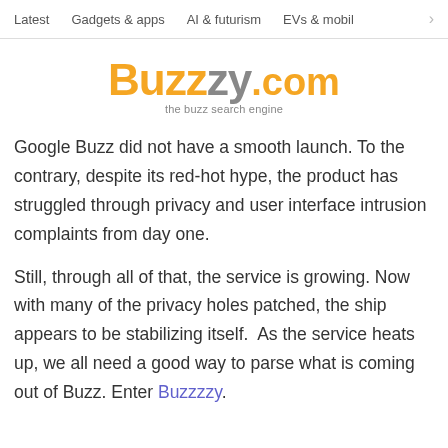Latest   Gadgets & apps   AI & futurism   EVs & mobil >
[Figure (logo): Buzzzy.com logo — 'Buzz' in orange bold, 'zy' in gray bold, '.com' in orange, tagline 'the buzz search engine' in gray below]
Google Buzz did not have a smooth launch. To the contrary, despite its red-hot hype, the product has struggled through privacy and user interface intrusion complaints from day one.
Still, through all of that, the service is growing. Now with many of the privacy holes patched, the ship appears to be stabilizing itself.  As the service heats up, we all need a good way to parse what is coming out of Buzz. Enter Buzzzzy.